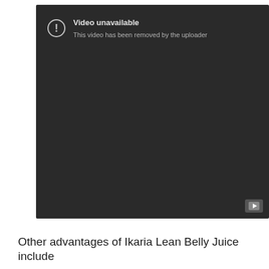[Figure (screenshot): YouTube video player showing 'Video unavailable - This video has been removed by the uploader' error message on a dark background with a YouTube button in the bottom right corner.]
Other advantages of Ikaria Lean Belly Juice include